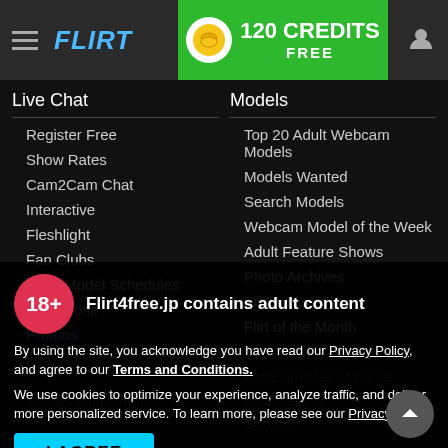FLIRT4FREE — 120 CREDITS FREE
Live Chat
Register Free
Show Rates
Cam2Cam Chat
Interactive
Fleshlight
Fan Clubs
Adult Model Schedules
Flirt Phone
Promos
Models
Top 20 Adult Webcam Models
Models Wanted
Search Models
Webcam Model of the Week
Adult Feature Shows
Photo Archives
Flirt Awards
Flirt of the Month
Flirt of the Year
Webcam Hall of Fame
Sex Games
18+ Flirt4free.jp contains adult content
By using the site, you acknowledge you have read our Privacy Policy, and agree to our Terms and Conditions.
We use cookies to optimize your experience, analyze traffic, and deliver more personalized service. To learn more, please see our Privacy Policy.
I AGREE